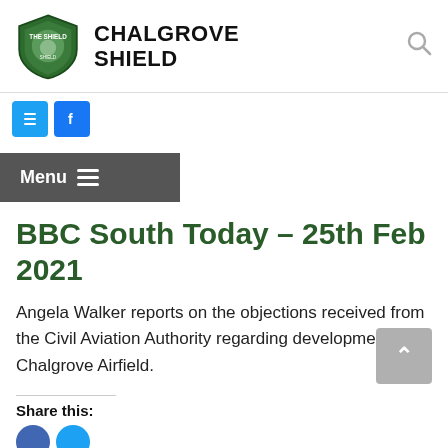CHALGROVE SHIELD
BBC South Today – 25th Feb 2021
Angela Walker reports on the objections received from the Civil Aviation Authority regarding development at Chalgrove Airfield.
Share this: